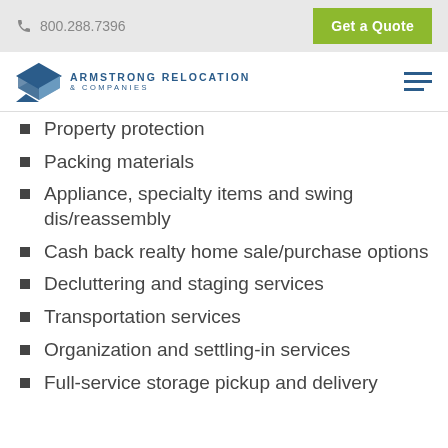800.288.7396  Get a Quote
[Figure (logo): Armstrong Relocation & Companies logo with blue diamond/arrow icon and company name]
Property protection
Packing materials
Appliance, specialty items and swing dis/reassembly
Cash back realty home sale/purchase options
Decluttering and staging services
Transportation services
Organization and settling-in services
Full-service storage pickup and delivery